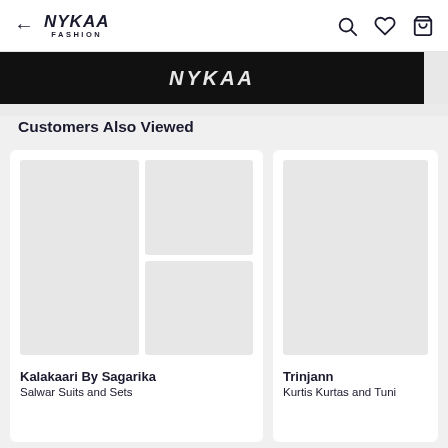← NYKAA FASHION [search] [wishlist] [bag]
[Figure (screenshot): Black promotional banner with white stylized text, partially cropped]
Customers Also Viewed
[Figure (other): Product card for Kalakaari By Sagarika showing collage of grey placeholder images]
Kalakaari By Sagarika
Salwar Suits and Sets
[Figure (other): Product card for Trinjann showing grey placeholder image]
Trinjann
Kurtis Kurtas and Tuni